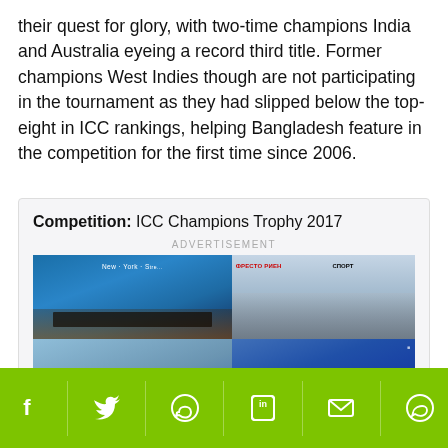their quest for glory, with two-time champions India and Australia eyeing a record third title. Former champions West Indies though are not participating in the tournament as they had slipped below the top-eight in ICC rankings, helping Bangladesh feature in the competition for the first time since 2006.
Competition: ICC Champions Trophy 2017
ADVERTISEMENT
[Figure (photo): Advertisement image showing a shopping mall or commercial building exterior (blue glass facade, left panel) and a large retail/commercial complex with parking lot (right panel), with partial bottom row images.]
[Figure (infographic): Social media sharing bar with icons for Facebook, Twitter, WhatsApp, LinkedIn, Email, and Facebook Messenger on a green background.]